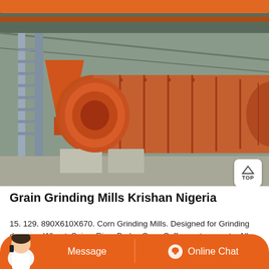[Figure (photo): Industrial ball mill or grain grinding machine inside a warehouse. Large orange cylindrical drum on metal supports, with a metal frame structure and stairs visible. Orange beams overhead in the industrial facility.]
Grain Grinding Mills Krishan Nigeria
15. 129. 890X610X670. Corn Grinding Mills. Designed for Grinding dry corn, Wheat, Spice, Rice, Barley Coco Coffee wet corn, etc. All the parts subject to wear and tear are specially hard for maintenance free operation.